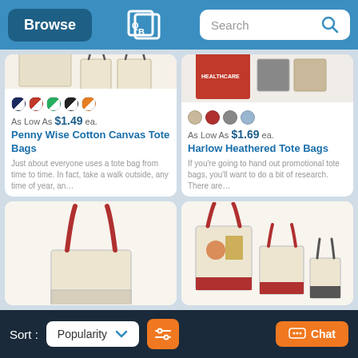Browse | [Logo] | Search
[Figure (photo): Penny Wise Cotton Canvas Tote Bags product image showing flat canvas and two bags with handles]
As Low As $1.49 ea.
Penny Wise Cotton Canvas Tote Bags
Just about everyone uses a tote bag from time to time. In fact, take a walk outside, any time of year, an…
[Figure (photo): Harlow Heathered Tote Bags product image with Healthcare branded red bag and color swatches]
As Low As $1.69 ea.
Harlow Heathered Tote Bags
If you're going to hand out promotional tote bags, you'll want to do a bit of research. There are…
[Figure (photo): Red-handled canvas tote bag bottom card]
[Figure (photo): Multiple canvas tote bags with red handles and trim, various sizes]
Sort: Popularity ▼  [filter icon]  Chat